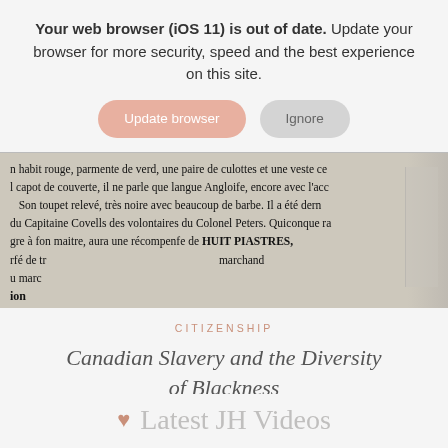Your web browser (iOS 11) is out of date. Update your browser for more security, speed and the best experience on this site.
Update browser | Ignore
[Figure (photo): Cropped historical French-language document with text about 'habit rouge', 'capot de couverte', 'HUIT PIASTRES', 'Capitaine Covells des volontaires du Colonel Peters' and other partially visible text]
CITIZENSHIP
Canadian Slavery and the Diversity of Blackness
Latest JH Videos